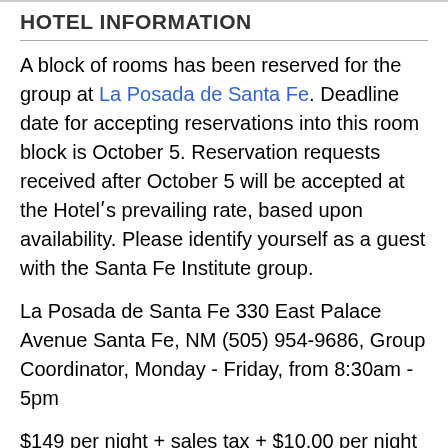HOTEL INFORMATION
A block of rooms has been reserved for the group at La Posada de Santa Fe. Deadline date for accepting reservations into this room block is October 5. Reservation requests received after October 5 will be accepted at the Hotelʹs prevailing rate, based upon availability. Please identify yourself as a guest with the Santa Fe Institute group.
La Posada de Santa Fe 330 East Palace Avenue Santa Fe, NM (505) 954-9686, Group Coordinator, Monday - Friday, from 8:30am - 5pm
$149 per night + sales tax + $10.00 per night parking fee.
We expect the meeting to be fully subscribed and the conference hotel to sell out quickly. Please note that SFI has guaranteed these rooms. If you must cancel please ensure you settle any cancellation charges directly with